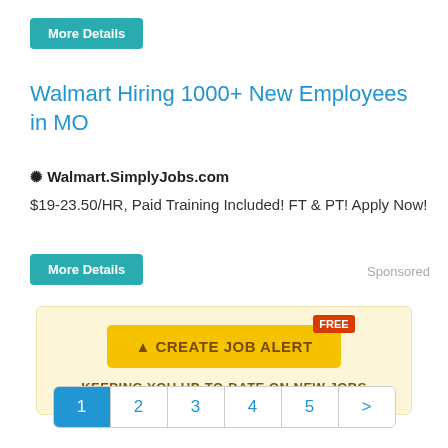[Figure (other): Teal 'More Details' button at the top of the page]
Walmart Hiring 1000+ New Employees in MO
❋ Walmart.SimplyJobs.com
$19-23.50/HR, Paid Training Included! FT & PT! Apply Now!
[Figure (other): Teal 'More Details' button below ad text]
Sponsored
[Figure (infographic): Yellow banner with 'CREATE JOB ALERT' button with FREE badge and tagline 'KEEPING YOU UP-TO-DATE ON NEW JOBS']
[Figure (other): Pagination bar with pages 1 (active/blue), 2, 3, 4, 5, and > arrow]